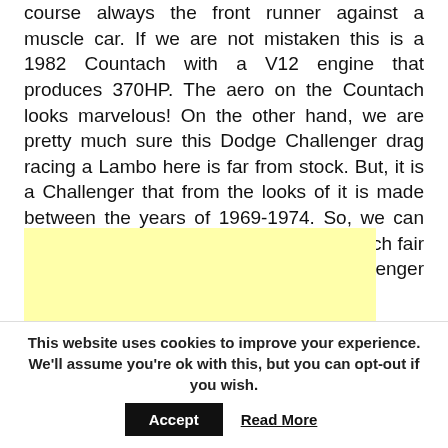course always the front runner against a muscle car. If we are not mistaken this is a 1982 Countach with a V12 engine that produces 370HP. The aero on the Countach looks marvelous! On the other hand, we are pretty much sure this Dodge Challenger drag racing a Lambo here is far from stock. But, it is a Challenger that from the looks of it is made between the years of 1969-1974. So, we can safely say that this drag race is pretty much fair no matter how much modified this Challenger is.
[Figure (other): Yellow advertisement placeholder block]
This website uses cookies to improve your experience. We'll assume you're ok with this, but you can opt-out if you wish.